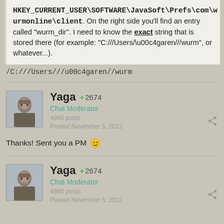HKEY_CURRENT_USER\SOFTWARE\JavaSoft\Prefs\com\wurmonline\client. On the right side you'll find an entry called "wurm_dir". I need to know the exact string that is stored there (for example: "C:///Users/\u00c4garen///wurm", or whatever...).
/C:///Users///u00c4garen//wurm
Yaga +2674
Chat Moderator
4960 posts
Posted November 5, 2012
Thanks! Sent you a PM :)
Yaga +2674
Chat Moderator
4960 posts
Posted November 5, 2012